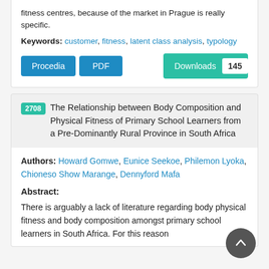fitness centres, because of the market in Prague is really specific.
Keywords: customer, fitness, latent class analysis, typology
Procedia | PDF | Downloads 145
2708 The Relationship between Body Composition and Physical Fitness of Primary School Learners from a Pre-Dominantly Rural Province in South Africa
Authors: Howard Gomwe, Eunice Seekoe, Philemon Lyoka, Chioneso Show Marange, Dennyford Mafa
Abstract:
There is arguably a lack of literature regarding body physical fitness and body composition amongst primary school learners in South Africa. For this reason